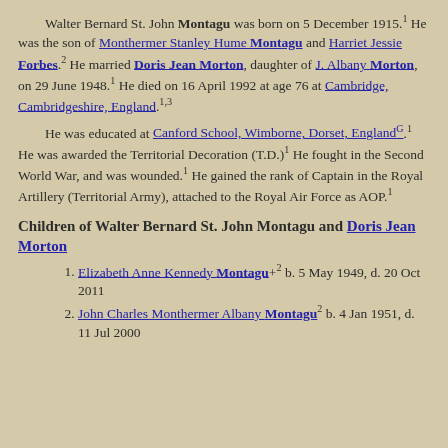Walter Bernard St. John Montagu was born on 5 December 1915.1 He was the son of Monthermer Stanley Hume Montagu and Harriet Jessie Forbes.2 He married Doris Jean Morton, daughter of J. Albany Morton, on 29 June 1948.1 He died on 16 April 1992 at age 76 at Cambridge, Cambridgeshire, England.1,3
He was educated at Canford School, Wimborne, Dorset, England G.1 He was awarded the Territorial Decoration (T.D.)1 He fought in the Second World War, and was wounded.1 He gained the rank of Captain in the Royal Artillery (Territorial Army), attached to the Royal Air Force as AOP.1
Children of Walter Bernard St. John Montagu and Doris Jean Morton
Elizabeth Anne Kennedy Montagu+2 b. 5 May 1949, d. 20 Oct 2011
John Charles Monthermer Albany Montagu2 b. 4 Jan 1951, d. 11 Jul 2000